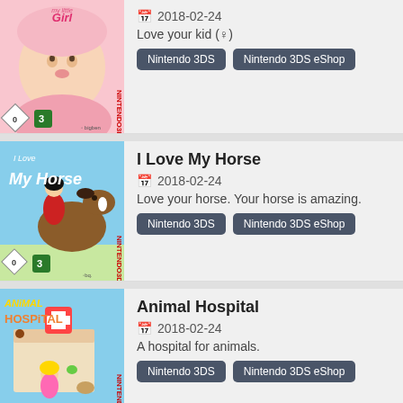[Figure (screenshot): Nintendo 3DS game cover for 'my little Girl' showing a baby's face, USK 0 and PEGI 3 ratings, bigben publisher logo]
2018-02-24
Love your kid (♀)
Nintendo 3DS
Nintendo 3DS eShop
[Figure (screenshot): Nintendo 3DS game cover for 'I Love My Horse' showing a girl with a horse, USK 0 and PEGI 3 ratings]
I Love My Horse
2018-02-24
Love your horse. Your horse is amazing.
Nintendo 3DS
Nintendo 3DS eShop
[Figure (screenshot): Nintendo 3DS game cover for 'Animal Hospital' showing a cartoon vet hospital with animals and a blonde character]
Animal Hospital
2018-02-24
A hospital for animals.
Nintendo 3DS
Nintendo 3DS eShop